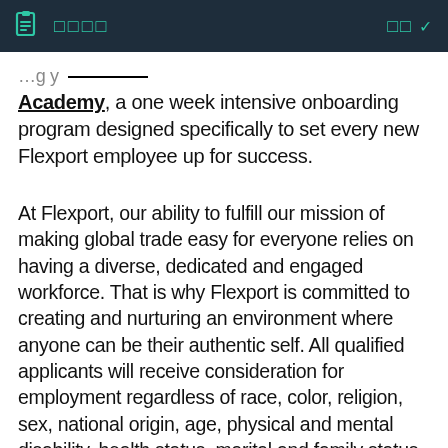□□□□  □□ ▼
Academy, a one week intensive onboarding program designed specifically to set every new Flexport employee up for success.
At Flexport, our ability to fulfill our mission of making global trade easy for everyone relies on having a diverse, dedicated and engaged workforce. That is why Flexport is committed to creating and nurturing an environment where anyone can be their authentic self. All qualified applicants will receive consideration for employment regardless of race, color, religion, sex, national origin, age, physical and mental disability, health status, marital and family status, sexual orientation, gender identity and expression, military and veteran status, and any other characteristic protected by applicable law.